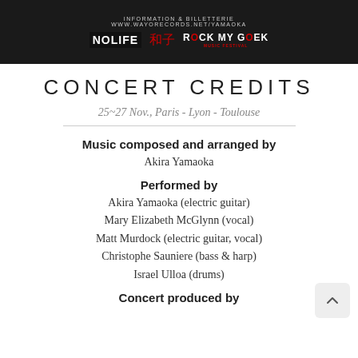[Figure (photo): Dark banner with text 'INFORMATION & BILLETTERIE WWW.WAYORECORDS.NET/YAMAOKA' and logos for NOLIFE, a kanji symbol, and ROCK MY GEEK MUSIC FESTIVAL]
CONCERT CREDITS
25~27 Nov., Paris - Lyon - Toulouse
Music composed and arranged by
Akira Yamaoka
Performed by
Akira Yamaoka (electric guitar)
Mary Elizabeth McGlynn (vocal)
Matt Murdock (electric guitar, vocal)
Christophe Sauniere (bass & harp)
Israel Ulloa (drums)
Concert produced by